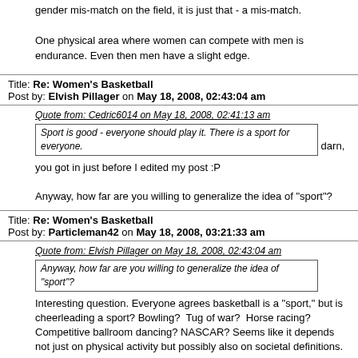gender mis-match on the field, it is just that - a mis-match.

One physical area where women can compete with men is endurance. Even then men have a slight edge.
Title: Re: Women's Basketball
Post by: Elvish Pillager on May 18, 2008, 02:43:04 am
Quote from: Cedric6014 on May 18, 2008, 02:41:13 am
Sport is good - everyone should play it. There is a sport for everyone.
darn, you got in just before I edited my post :P

Anyway, how far are you willing to generalize the idea of "sport"?
Title: Re: Women's Basketball
Post by: Particleman42 on May 18, 2008, 03:21:33 am
Quote from: Elvish Pillager on May 18, 2008, 02:43:04 am
Anyway, how far are you willing to generalize the idea of "sport"?

Interesting question. Everyone agrees basketball is a "sport," but is cheerleading a sport? Bowling?  Tug of war?  Horse racing? Competitive ballroom dancing? NASCAR? Seems like it depends not just on physical activity but possibly also on societal definitions.